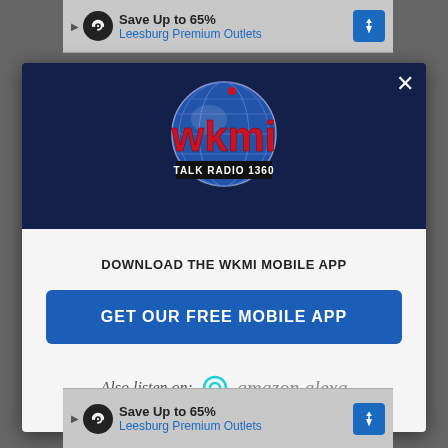[Figure (screenshot): Top advertisement banner: Save Up to 65% Leesburg Premium Outlets with navigation icons]
[Figure (logo): WKMI Talk Radio 1360 logo with globe graphic and red letters on dark navy background]
DOWNLOAD THE WKMI MOBILE APP
GET OUR FREE MOBILE APP
Also listen on:  amazon alexa
[Figure (screenshot): Bottom advertisement banner: Save Up to 65% Leesburg Premium Outlets with navigation icons]